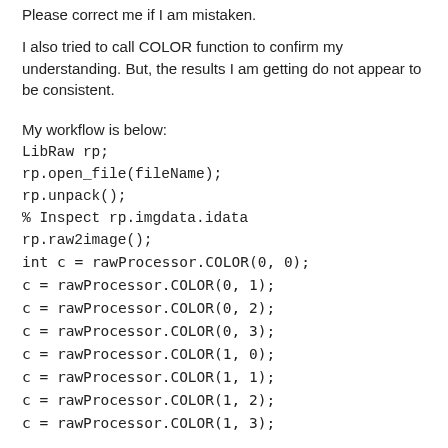Please correct me if I am mistaken.
I also tried to call COLOR function to confirm my understanding. But, the results I am getting do not appear to be consistent.
My workflow is below:
LibRaw rp;
rp.open_file(fileName);
rp.unpack();
% Inspect rp.imgdata.idata
rp.raw2image();
int c = rawProcessor.COLOR(0, 0);
c = rawProcessor.COLOR(0, 1);
c = rawProcessor.COLOR(0, 2);
c = rawProcessor.COLOR(0, 3);
c = rawProcessor.COLOR(1, 0);
c = rawProcessor.COLOR(1, 1);
c = rawProcessor.COLOR(1, 2);
c = rawProcessor.COLOR(1, 3);